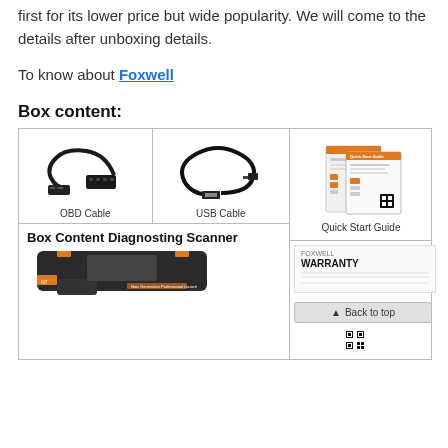first for its lower price but wide popularity. We will come to the details after unboxing details.
To know about Foxwell
Box content:
[Figure (photo): Box content grid showing OBD Cable, USB Cable, Quick Start Guide, Box Content Diagnosing Scanner, and WARRANTY card with Back to top button]
Box Content Diagnosting Scanner
WARRANTY
▲ Back to top